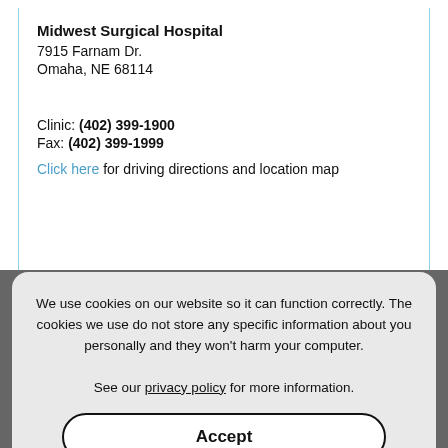Midwest Surgical Hospital
7915 Farnam Dr.
Omaha, NE 68114
Clinic: (402) 399-1900
Fax: (402) 399-1999
Click here for driving directions and location map
We use cookies on our website so it can function correctly. The cookies we use do not store any specific information about you personally and they won't harm your computer.
See our privacy policy for more information.
Accept
Methodist Physicians Clinic